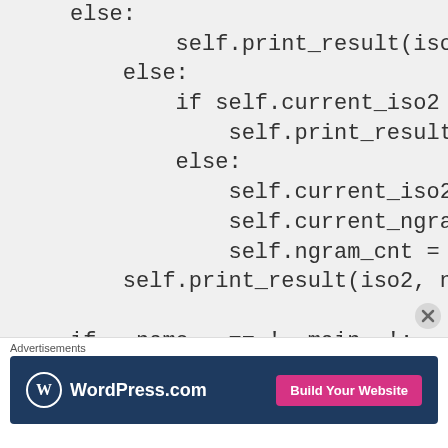else:
        self.print_result(iso2,
    else:
        if self.current_iso2 is n
            self.print_result(iso2,
        else:
            self.current_iso2 = iso
            self.current_ngram = ng
            self.ngram_cnt = 1
    self.print_result(iso2, ngram

if __name__ == '__main__':
Advertisements
[Figure (other): WordPress.com advertisement banner with dark blue background, WordPress logo on left, and 'Build Your Website' pink button on right]